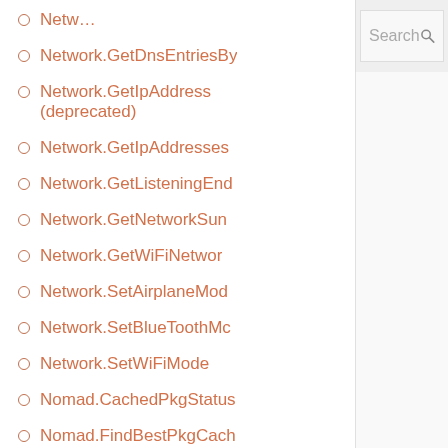[Figure (screenshot): Navigation up-arrow button in a toolbar area]
[Figure (screenshot): Search bar with placeholder text 'Search' and search icon]
Network.GetDnsEntriesBy
Network.GetIpAddress (deprecated)
Network.GetIpAddresses
Network.GetListeningEnd
Network.GetNetworkSun
Network.GetWiFiNetwork
Network.SetAirplaneMod
Network.SetBlueToothMc
Network.SetWiFiMode
Nomad.CachedPkgStatus
Nomad.FindBestPkgCach